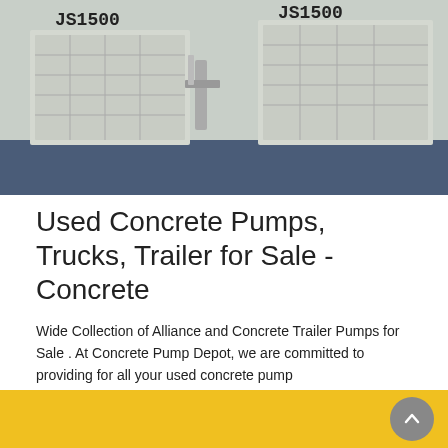[Figure (photo): Photo of industrial concrete pump machines labeled JS1500, white/grey colored equipment on a blue floor in a factory or warehouse setting]
Used Concrete Pumps, Trucks, Trailer for Sale - Concrete
Wide Collection of Alliance and Concrete Trailer Pumps for Sale . At Concrete Pump Depot, we are committed to providing for all your used concrete pump needs.Specializing in high quality, reliable and affordable used concrete pumps and used concrete boom pumps for sale, our customers count on our great customer service when shopping for a used concrete pump.
[Figure (other): Yellow 'Learn More' button]
[Figure (other): Bottom yellow banner section with a grey circular scroll-to-top arrow button in the bottom right corner]